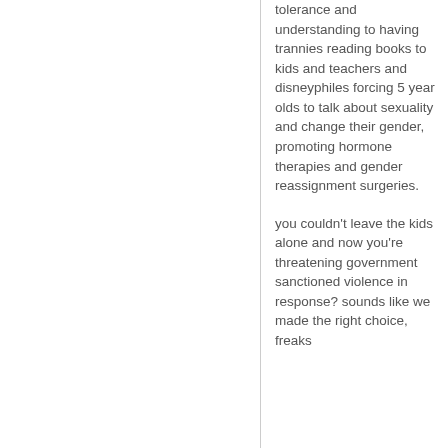tolerance and understanding to having trannies reading books to kids and teachers and disneyphiles forcing 5 year olds to talk about sexuality and change their gender, promoting hormone therapies and gender reassignment surgeries.
you couldn't leave the kids alone and now you're threatening government sanctioned violence in response? sounds like we made the right choice, freaks